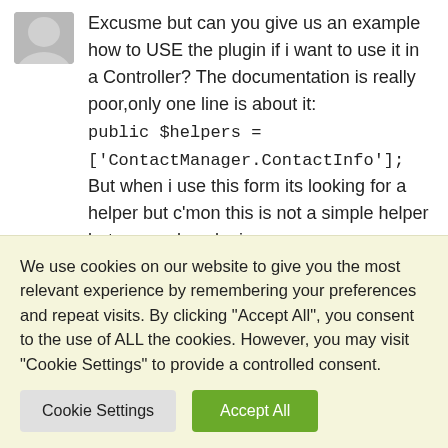Excusme but can you give us an example how to USE the plugin if i want to use it in a Controller? The documentation is really poor,only one line is about it:
public $helpers = ['ContactManager.ContactInfo'];

But when i use this form its looking for a helper but c'mon this is not a simple helper but a complex plugin.
thank you
Ūmit says:
We use cookies on our website to give you the most relevant experience by remembering your preferences and repeat visits. By clicking "Accept All", you consent to the use of ALL the cookies. However, you may visit "Cookie Settings" to provide a controlled consent.